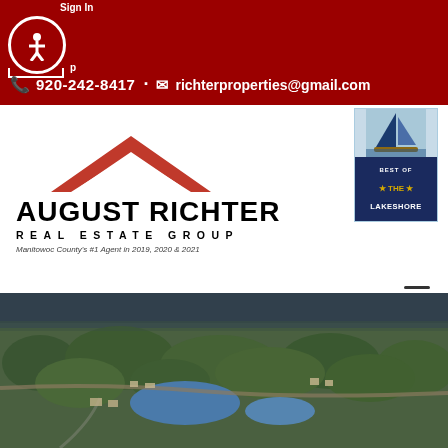920-242-8417 · richterproperties@gmail.com
[Figure (logo): August Richter Real Estate Group logo with red roof/chevron icon and text: AUGUST RICHTER REAL ESTATE GROUP, Manitowoc County's #1 Agent in 2019, 2020 & 2021]
[Figure (logo): Best of The Lakeshore 2022 Winner badge with sailboat graphic, Herald Times Reporter]
[Figure (photo): Aerial photo of a lakeside town with green trees, water, and residential areas visible from above]